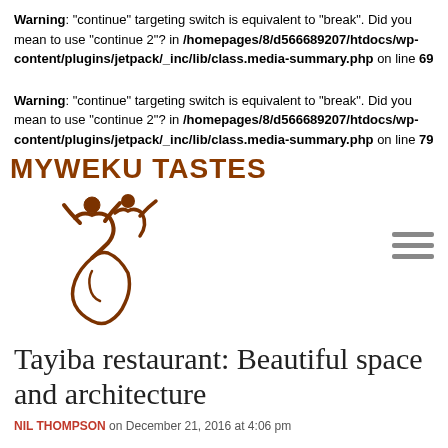Warning: "continue" targeting switch is equivalent to "break". Did you mean to use "continue 2"? in /homepages/8/d566689207/htdocs/wp-content/plugins/jetpack/_inc/lib/class.media-summary.php on line 69
Warning: "continue" targeting switch is equivalent to "break". Did you mean to use "continue 2"? in /homepages/8/d566689207/htdocs/wp-content/plugins/jetpack/_inc/lib/class.media-summary.php on line 79
[Figure (logo): MYWEKU TASTES logo with two stylized human figures forming an Africa continent shape, brown color, with hamburger menu icon on the right]
Tayiba restaurant: Beautiful space and architecture
NIL THOMPSON on December 21, 2016 at 4:06 pm